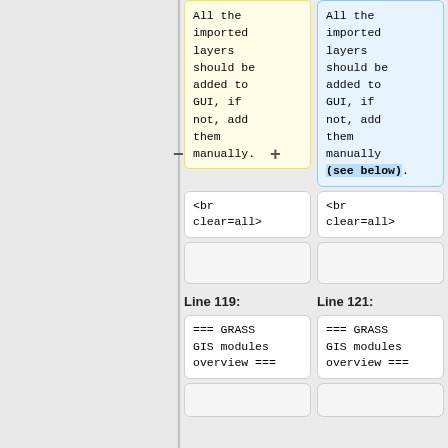All the imported layers should be added to GUI, if not, add them manually.
All the imported layers should be added to GUI, if not, add them manually (see below).
<br clear=all>
<br clear=all>
Line 119:
Line 121:
=== GRASS GIS modules overview ===
=== GRASS GIS modules overview ===